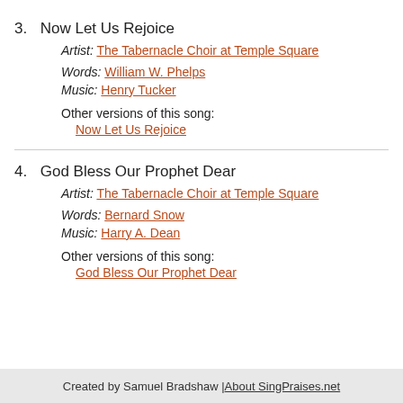3. Now Let Us Rejoice
Artist: The Tabernacle Choir at Temple Square
Words: William W. Phelps
Music: Henry Tucker
Other versions of this song:
Now Let Us Rejoice
4. God Bless Our Prophet Dear
Artist: The Tabernacle Choir at Temple Square
Words: Bernard Snow
Music: Harry A. Dean
Other versions of this song:
God Bless Our Prophet Dear
Created by Samuel Bradshaw | About SingPraises.net